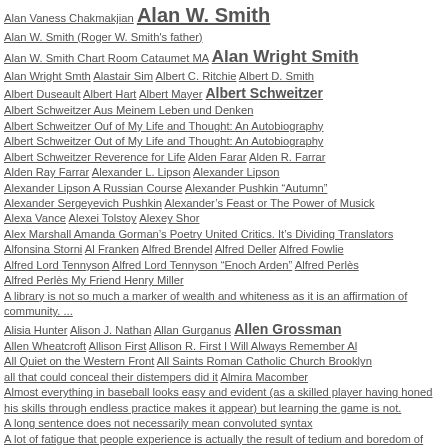Alan Vaness Chakmakjian  Alan W. Smith
Alan W. Smith (Roger W. Smith's father)
Alan W. Smith Chart Room Cataumet MA  Alan Wright Smith
Alan Wright Smth  Alastair Sim  Albert C. Ritchie  Albert D. Smith
Albert Duseault  Albert Hart  Albert Mayer  Albert Schweitzer
Albert Schweitzer Aus Meinem Leben und Denken
Albert Schweitzer Ouf of My Life and Thought: An Autobiography
Albert Schweitzer Out of My Life and Thought: An Autobiography
Albert Schweitzer Reverence for Life  Alden Farar  Alden R. Farrar
Alden Ray Farrar  Alexander L. Lipson  Alexander Lipson
Alexander Lipson A Russian Course  Alexander Pushkin “Autumn”
Alexander Sergeyevich Pushkin  Alexander’s Feast or The Power of Musick
Alexa Vance  Alexei Tolstoy  Alexey Shor
Alex Marshall Amanda Gorman’s Poetry United Critics. It’s Dividing Translators
Alfonsina Storni  Al Franken  Alfred Brendel  Alfred Deller  Alfred Fowlie
Alfred Lord Tennyson  Alfred Lord Tennyson “Enoch Arden”  Alfred Perles
Alfred Perlès My Friend Henry Miller
A library is not so much a marker of wealth and whiteness as it is an affirmation of community. ...
Alisia Hunter  Alison J. Nathan  Allan Gurganus  Allen Grossman
Allen Wheatcroft  Allison First  Allison R. First I Will Always Remember Al
All Quiet on the Western Front  All Saints Roman Catholic Church Brooklyn
all that could conceal their distempers did it  Almira Macomber
Almost everything in baseball looks easy and evident (as a skilled player having honed his skills through endless practice makes it appear) but learning the game is not.
A long sentence does not necessarily mean convoluted syntax
A lot of fatigue that people experience is actually the result of tedium and boredom of being inside too much doing repetitive work.
A lot of my contemporaries seem to think that they are self sufficient in their ability to reason and thereby to deduce their own truths (the absolute rightness of which they are convinced of) and the